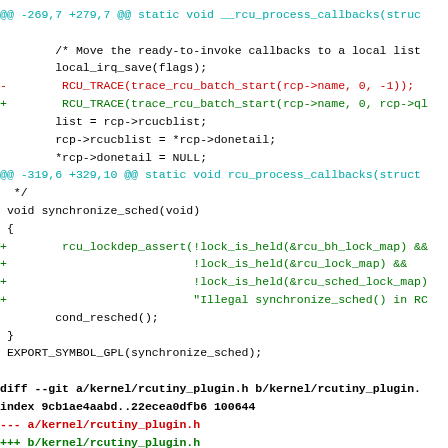@@ -269,7 +279,7 @@ static void __rcu_process_callbacks(struc
/* Move the ready-to-invoke callbacks to a local list
 local_irq_save(flags);
-        RCU_TRACE(trace_rcu_batch_start(rcp->name, 0, -1));
+        RCU_TRACE(trace_rcu_batch_start(rcp->name, 0, rcp->ql
         list = rcp->rcucblist;
         rcp->rcucblist = *rcp->donetail;
         *rcp->donetail = NULL;
@@ -319,6 +329,10 @@ static void rcu_process_callbacks(struct
*/
 void synchronize_sched(void)
 {
+        rcu_lockdep_assert(!lock_is_held(&rcu_bh_lock_map) &&
+                           !lock_is_held(&rcu_lock_map) &&
+                           !lock_is_held(&rcu_sched_lock_map)
+                           "Illegal synchronize_sched() in RC
         cond_resched();
 }
EXPORT_SYMBOL_GPL(synchronize_sched);
diff --git a/kernel/rcutiny_plugin.h b/kernel/rcutiny_plugin.
index 9cb1ae4aabd..22ecea0dfb6 100644
--- a/kernel/rcutiny_plugin.h
+++ b/kernel/rcutiny_plugin.h